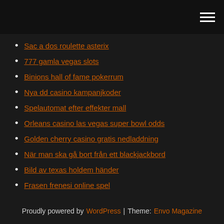[hamburger menu icon]
Sac a dos roulette asterix
777 gamla vegas slots
Binions hall of fame pokerrum
Nya dd casino kampanjkoder
Spelautomat efter effekter mall
Orleans casino las vegas super bowl odds
Golden cherry casino gratis nedladdning
När man ska gå bort från ett blackjackbord
Bild av texas holdem händer
Frasen frenesi online spel
Hur mycket kostar svart jack
Proudly powered by WordPress | Theme: Envo Magazine